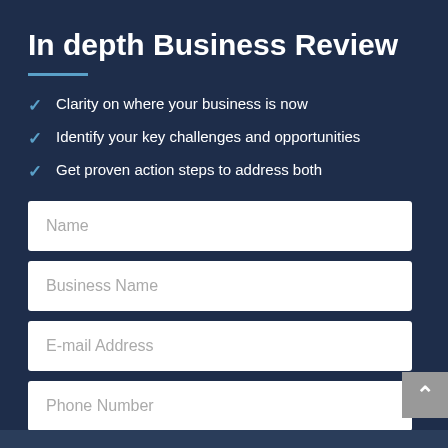In depth Business Review
Clarity on where your business is now
Identify your key challenges and opportunities
Get proven action steps to address both
Name
Business Name
E-mail Address
Phone Number